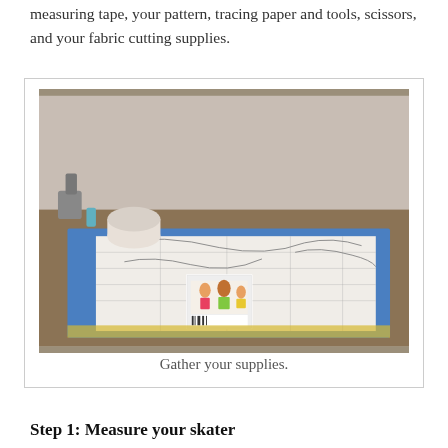measuring tape, your pattern, tracing paper and tools, scissors, and your fabric cutting supplies.
[Figure (photo): A sewing pattern (Kwik Sew brand) laid out flat on a blue cutting mat on the floor, with a roll of tracing paper nearby and pattern pieces spread across the mat.]
Gather your supplies.
Step 1: Measure your skater